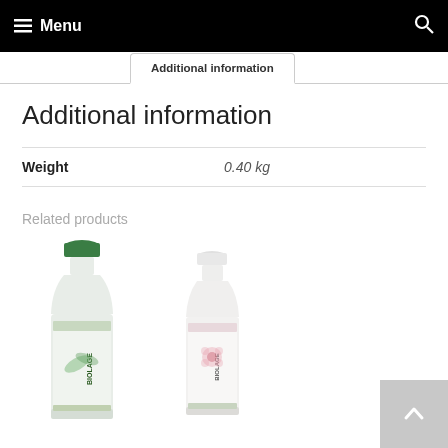Menu
Additional information
Additional information
|  |  |
| --- | --- |
| Weight | 0.40 kg |
Related products
[Figure (photo): Biolage green-cap shampoo bottle]
[Figure (photo): Biolage pink-cap shampoo bottle]